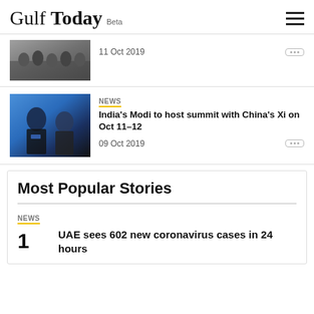Gulf Today Beta
11 Oct 2019
[Figure (photo): Military or crowd scene photograph]
NEWS
India's Modi to host summit with China's Xi on Oct 11–12
09 Oct 2019
[Figure (photo): Photo of Xi Jinping and Narendra Modi standing together]
Most Popular Stories
NEWS
1  UAE sees 602 new coronavirus cases in 24 hours